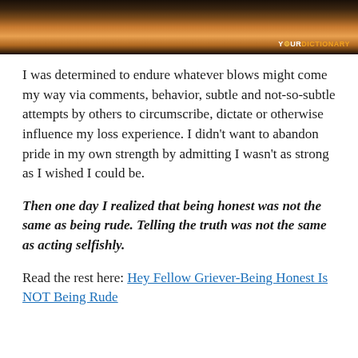[Figure (photo): Dark banner photo showing a silhouette landscape with a glowing orange/yellow sun or light source on the horizon, with a YourDictionary watermark in the bottom right corner.]
I was determined to endure whatever blows might come my way via comments, behavior, subtle and not-so-subtle attempts by others to circumscribe, dictate or otherwise influence my loss experience. I didn't want to abandon pride in my own strength by admitting I wasn't as strong as I wished I could be.
Then one day I realized that being honest was not the same as being rude. Telling the truth was not the same as acting selfishly.
Read the rest here: Hey Fellow Griever-Being Honest Is NOT Being Rude